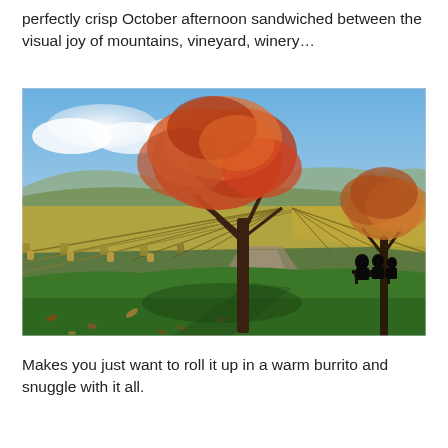perfectly crisp October afternoon sandwiched between the visual joy of mountains, vineyard, winery...
[Figure (photo): Autumn vineyard scene with two large trees displaying orange and brown fall foliage, rows of yellow-leafed grapevines stretching into the distance under a blue sky with white clouds, green grass foreground with fallen leaves, and silhouettes of people sitting on a bench in the right background.]
Makes you just want to roll it up in a warm burrito and snuggle with it all.